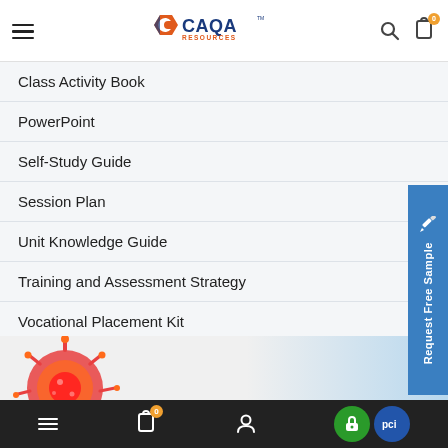CAQA Resources
Class Activity Book
PowerPoint
Self-Study Guide
Session Plan
Unit Knowledge Guide
Training and Assessment Strategy
Vocational Placement Kit
View All Products
[Figure (screenshot): Request Free Sample vertical tab on right side, blue background]
[Figure (photo): Partial image of a virus/coronavirus illustration in red and orange at bottom left]
Navigation icons: hamburger menu, clipboard with badge 0, user icon, security badges (green lock, PCI)